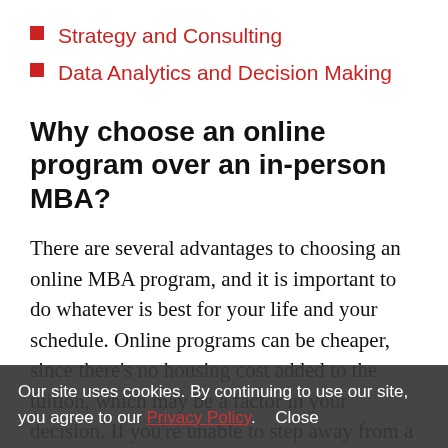Strategy and Consulting
Data Analytics and Decision Making
Why choose an online program over an in-person MBA?
There are several advantages to choosing an online MBA program, and it is important to do whatever is best for your life and your schedule. Online programs can be cheaper, since there’s no housing cost added to the tuition, which may be a factor in your decision. If you’re unable to step away from a full-time position, or you’re a stay-at-home parent, then an in-person degree might not be an option for you. In that case, an online
Our site uses cookies. By continuing to use our site, you agree to our Privacy Policy.  Close